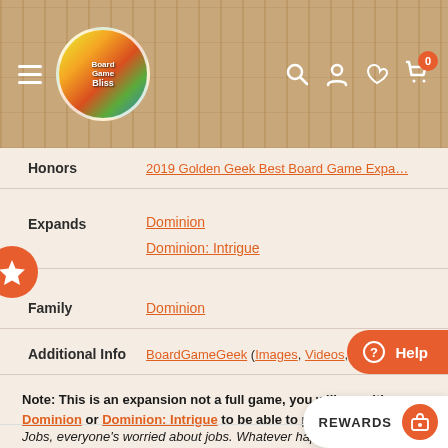[Figure (screenshot): BoardGameBliss website navigation bar with hamburger menu, logo, search, account, wishlist and cart icons on wood-texture background]
Honors	2019 Golden Geek Best Board Game Expa...
Expands	Dominion
	Dominion: Intrigue
Family	Dominion
Additional Info	BoardGameGeek (Images, Videos, Review...
Note: This is an expansion not a full game, you will need either Dominion or Dominion: Intrigue to be able to play this. There are no basic victory or treasure c...
Jobs, everyone's worried about jobs. Whatever happened to tilling the